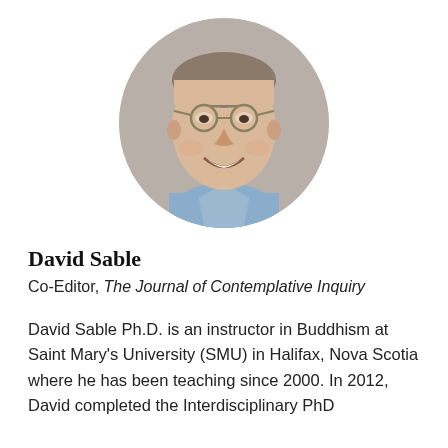[Figure (photo): Circular cropped headshot photo of David Sable, a middle-aged man with glasses, smiling, wearing a light blue shirt, photographed against a neutral background.]
David Sable
Co-Editor, The Journal of Contemplative Inquiry
David Sable Ph.D. is an instructor in Buddhism at Saint Mary's University (SMU) in Halifax, Nova Scotia where he has been teaching since 2000. In 2012, David completed the Interdisciplinary PhD